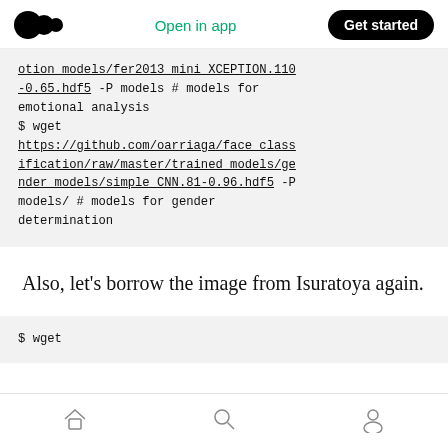Open in app  Get started
otion models/fer2013_mini_XCEPTION.110-0.65.hdf5 -P models # models for emotional analysis
$ wget https://github.com/oarriaga/face_classification/raw/master/trained_models/gender_models/simple_CNN.81-0.96.hdf5 -P models/ # models for gender determination
Also, let's borrow the image from Isuratoya again.
$ wget